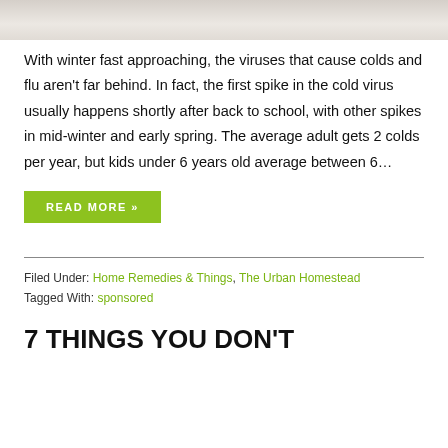[Figure (photo): Partial photo of a person resting on white bedding/pillows, cropped at top of page]
With winter fast approaching, the viruses that cause colds and flu aren't far behind. In fact, the first spike in the cold virus usually happens shortly after back to school, with other spikes in mid-winter and early spring. The average adult gets 2 colds per year, but kids under 6 years old average between 6…
READ MORE »
Filed Under: Home Remedies & Things, The Urban Homestead
Tagged With: sponsored
7 THINGS YOU DON'T